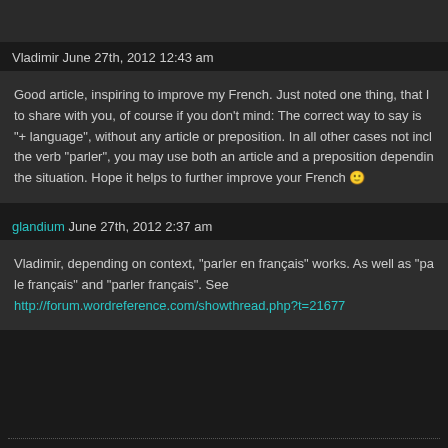Vladimir June 27th, 2012 12:43 am
Good article, inspiring to improve my French. Just noted one thing, that I to share with you, of course if you don't mind: The correct way to say is "+ language", without any article or preposition. In all other cases not including the verb "parler", you may use both an article and a preposition depending the situation. Hope it helps to further improve your French 🙂
glandium June 27th, 2012 2:37 am
Vladimir, depending on context, “parler en français” works. As well as "pa le français" and "parler français". See http://forum.wordreference.com/showthread.php?t=21677
mrbkap's blog is proudly powered by WordPress